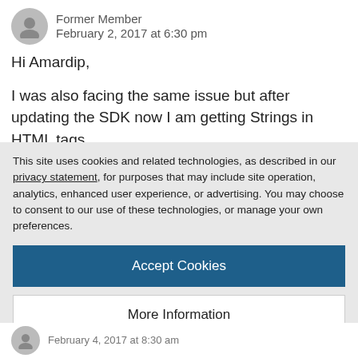[Figure (illustration): User avatar circle with silhouette icon, gray]
Former Member
February 2, 2017 at 6:30 pm
Hi Amardip,
I was also facing the same issue but after updating the SDK now I am getting Strings in HTML tags .
HI Martin,
I have started following you but I am unable to find you in chat room🙂
This site uses cookies and related technologies, as described in our privacy statement, for purposes that may include site operation, analytics, enhanced user experience, or advertising. You may choose to consent to our use of these technologies, or manage your own preferences.
Accept Cookies
More Information
Privacy Policy | Powered by: TrustArc
February 4, 2017 at 8:30 am